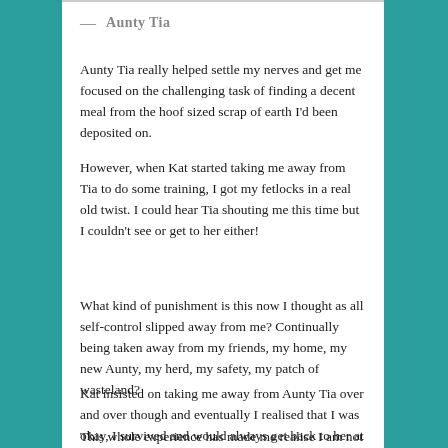— Aunty Tia
Aunty Tia really helped settle my nerves and get me focused on the challenging task of finding a decent meal from the hoof sized scrap of earth I'd been deposited on.
However, when Kat started taking me away from Tia to do some training, I got my fetlocks in a real old twist. I could hear Tia shouting me this time but I couldn't see or get to her either!
What kind of punishment is this now I thought as all self-control slipped away from me? Continually being taken away from my friends, my home, my new Aunty, my herd, my safety, my patch of wasteland?
Kat insisted on taking me away from Aunty Tia over and over though and eventually I realised that I was okay, I survived and would always get back to her at some point.
This whole experience has made me realise I am not